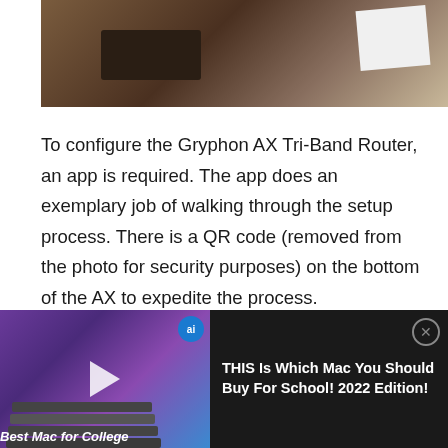[Figure (photo): Close-up photo of the bottom of Gryphon AX Tri-Band Router on a wooden surface, showing dark device with rounded edges and a white label/paper visible]
To configure the Gryphon AX Tri-Band Router, an app is required. The app does an exemplary job of walking through the setup process. There is a QR code (removed from the photo for security purposes) on the bottom of the AX to expedite the process.
[Figure (screenshot): Phone screenshot showing status bar with time 2:34 and location arrow on left, signal bars, 5G and battery indicator on right, on dark teal background]
[Figure (screenshot): Video player overlay showing laptop stacks thumbnail with 'ai' badge, play button, 'Best Mac for College' label, and video title 'THIS Is Which Mac You Should Buy For School! 2022 Edition!' on black background with close button]